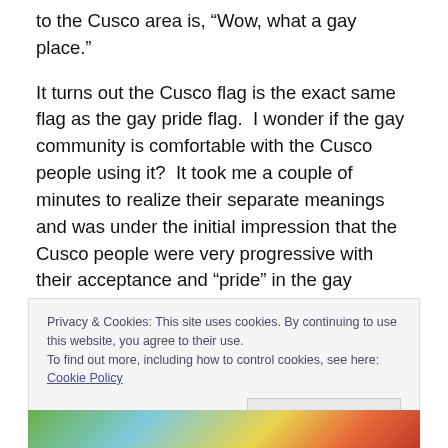to the Cusco area is, “Wow, what a gay place.”
It turns out the Cusco flag is the exact same flag as the gay pride flag.  I wonder if the gay community is comfortable with the Cusco people using it?  It took me a couple of minutes to realize their separate meanings and was under the initial impression that the Cusco people were very progressive with their acceptance and “pride” in the gay culture.
Privacy & Cookies: This site uses cookies. By continuing to use this website, you agree to their use.
To find out more, including how to control cookies, see here: Cookie Policy
[Figure (photo): Bottom strip showing a colorful outdoor photo, partially visible, with rainbow colors visible at the left edge.]